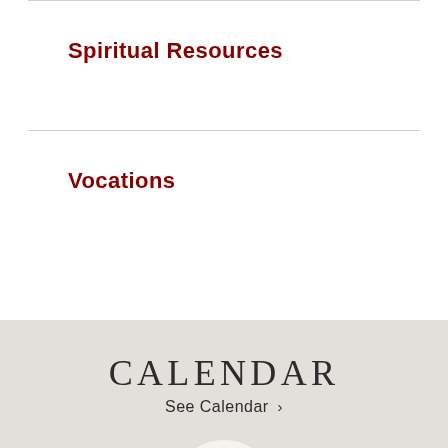Spiritual Resources
Vocations
CALENDAR
See Calendar ›
AUG 20
SoccerPalooza
12 - 6:30 PM